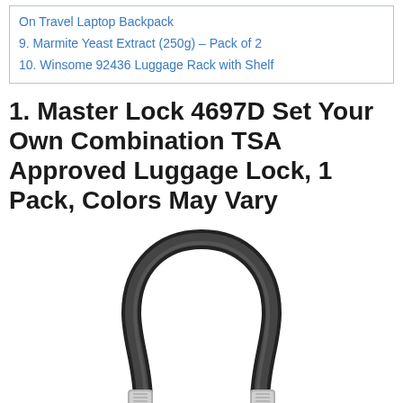On Travel Laptop Backpack
9. Marmite Yeast Extract (250g) – Pack of 2
10. Winsome 92436 Luggage Rack with Shelf
1. Master Lock 4697D Set Your Own Combination TSA Approved Luggage Lock, 1 Pack, Colors May Vary
[Figure (photo): A black cable luggage lock with silver metal ends, bent into a U-shape, shown against a white background.]